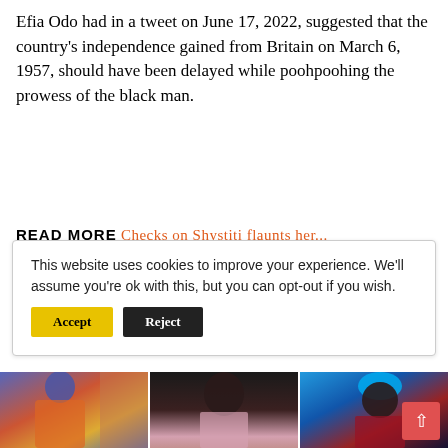Efia Odo had in a tweet on June 17, 2022, suggested that the country's independence gained from Britain on March 6, 1957, should have been delayed while poohpoohing the prowess of the black man.
READ MORE Checks on Shystiti flaunts her...
This website uses cookies to improve your experience. We'll assume you're ok with this, but you can opt-out if you wish.
[Figure (photo): Three photos of women side by side: left - woman with blue/purple hair and colorful top against brick wall; center - woman with dark skin and elegant makeup wearing pink top; right - woman with bright blue hair and red dress.]